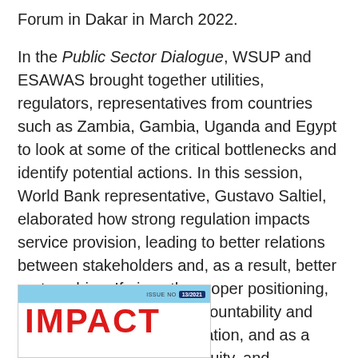Forum in Dakar in March 2022.
In the Public Sector Dialogue, WSUP and ESAWAS brought together utilities, regulators, representatives from countries such as Zambia, Gambia, Uganda and Egypt to look at some of the critical bottlenecks and identify potential actions. In this session, World Bank representative, Gustavo Saltiel, elaborated how strong regulation impacts service provision, leading to better relations between stakeholders and, as a result, better partnerships. If given the proper positioning, regulation will enhance accountability and efficiency of resource utilization, and as a result, strengthen focus, equity, and sustainability of non-sewered sanitation services.
[Figure (other): Cover image of a publication titled IMPACT, Issue No 13/2021, with a light blue header bar and large red bold IMPACT text.]